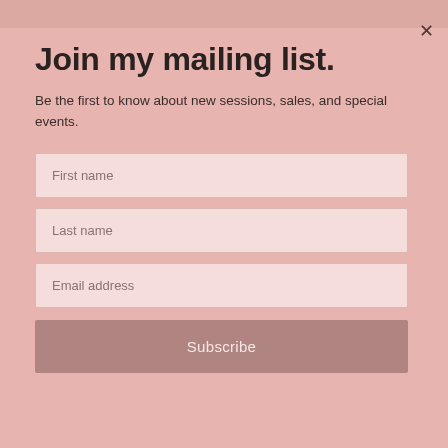[Figure (photo): Partial photo strip visible at the top of the page, showing a blurred background image of a person]
Join my mailing list.
Be the first to know about new sessions, sales, and special events.
First name
Last name
Email address
Subscribe